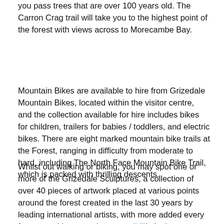you pass trees that are over 100 years old. The Carron Crag trail will take you to the highest point of the forest with views across to Morecambe Bay.
Mountain Bikes are available to hire from Grizedale Mountain Bikes, located within the visitor centre, and the collection available for hire includes bikes for children, trailers for babies / toddlers, and electric bikes. There are eight marked mountain bike trails at the Forest, ranging in difficulty from moderate to hard, including The North Face Mountain Bike Trail, which is packed with thrilling descents.
Whilst out walking or biking, you may spot one or more of the Grizedale Sculptures, a collection of over 40 pieces of artwork placed at various points around the forest created in the last 30 years by leading international artists, with more added every few years. You may also spot wildlife in the area, including the elusive Red Deer, Red Kites, and